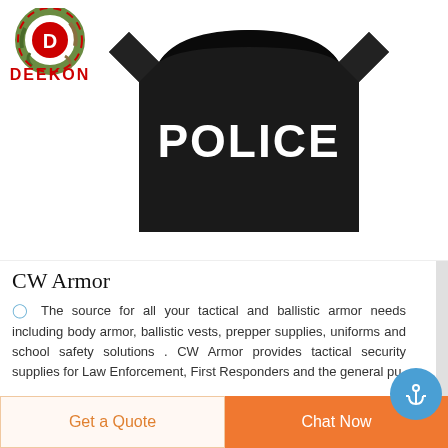[Figure (logo): Deekon logo: circular camouflage pattern with red D in center, text DEEKON in red below]
[Figure (photo): Black t-shirt with white POLICE text printed on the chest]
CW Armor
The source for all your tactical and ballistic armor needs including body armor, ballistic vests, prepper supplies, uniforms and school safety solutions . CW Armor provides tactical security supplies for Law Enforcement, First Responders and the general pu